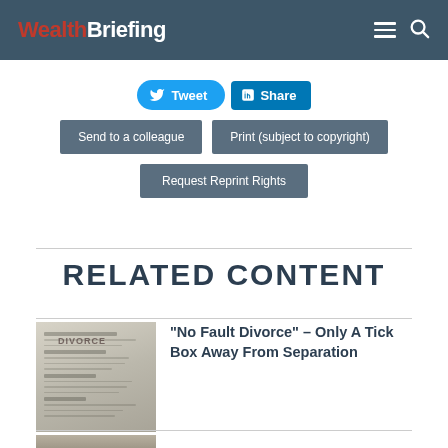WealthBriefing
Tweet | Share | Send to a colleague | Print (subject to copyright) | Request Reprint Rights
RELATED CONTENT
"No Fault Divorce" – Only A Tick Box Away From Separation